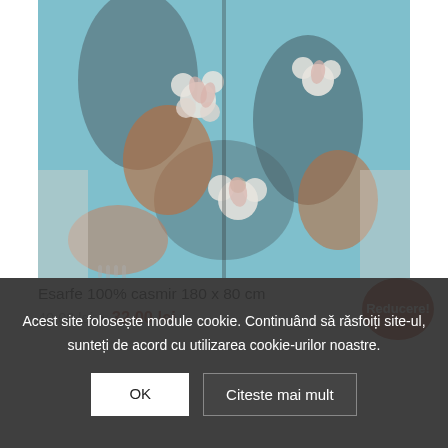[Figure (photo): A floral patterned cashmere scarf with teal/blue, orange, and pink flower designs displayed on a mannequin or hanger against a light background.]
Esarfe 100% casmir 180 x 80 cm
40,00 lei • 32,00 lei
Reducere!
Acest site folosește module cookie. Continuând să răsfoiți site-ul, sunteți de acord cu utilizarea cookie-urilor noastre.
OK
Citeste mai mult